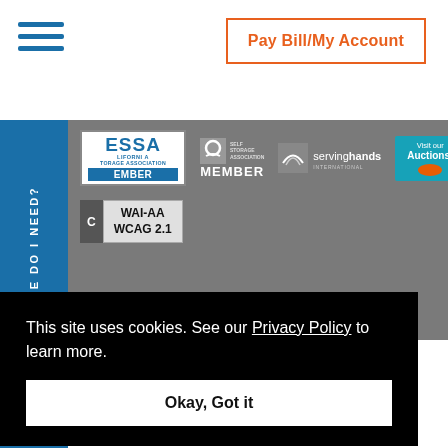[Figure (screenshot): Hamburger menu icon with three horizontal blue lines]
Pay Bill/My Account
WHAT SIZE DO I NEED?
[Figure (logo): CSSA California Storage Association Member badge]
[Figure (logo): Self Storage Association Member badge]
[Figure (logo): Serving Hands International logo]
[Figure (logo): Visit our Auctions button]
[Figure (logo): WAI-AA WCAG 2.1 accessibility badge]
acy Policy
This site uses cookies. See our Privacy Policy to learn more.
Okay, Got it